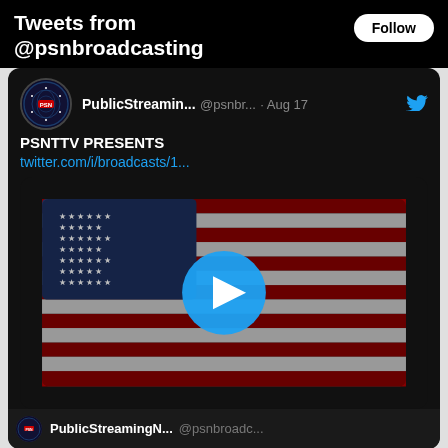Tweets from @psnbroadcasting
PublicStreamin... @psnbr... · Aug 17
PSNTTV PRESENTS
twitter.com/i/broadcasts/1...
[Figure (screenshot): American flag video thumbnail with blue play button overlay]
PublicStreamingN... @psnbroadc...
Tweets from @TheEspinoReport